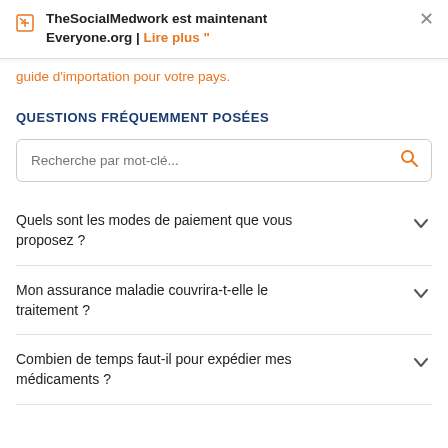TheSocialMedwork est maintenant Everyone.org | Lire plus "
guide d'importation pour votre pays.
QUESTIONS FRÉQUEMMENT POSÉES
Recherche par mot-clé...
Quels sont les modes de paiement que vous proposez ?
Mon assurance maladie couvrira-t-elle le traitement ?
Combien de temps faut-il pour expédier mes médicaments ?